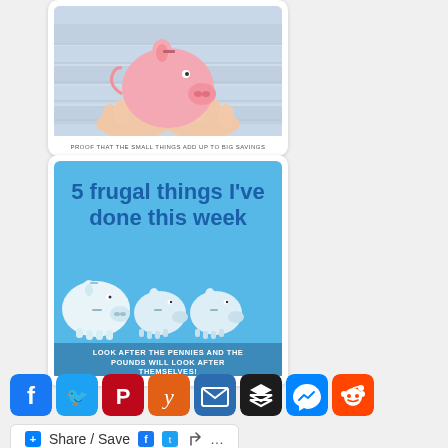[Figure (illustration): Card with image of hands holding a pink piggy bank on a wooden background, with caption 'PROOF THAT THE SMALL THINGS ADD UP TO BIG SAVINGS']
[Figure (illustration): Card with blue background showing five white piggy banks in a row, titled '5 frugal things I've done this week', caption 'LOOK AFTER THE PENNIES AND THE POUNDS WILL LOOK AFTER THEMSELVES!']
[Figure (infographic): Row of social sharing icons: Facebook (blue), Twitter (blue), Pinterest (red), Yummly (orange), Email (blue), Buffer/layers (black), Messenger (blue), Reddit (orange-red)]
[Figure (infographic): Share/Save button bar with Facebook, Twitter and share icons and '...']